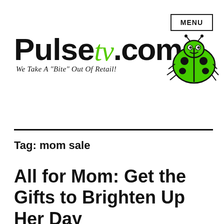MENU
[Figure (logo): PulseTV.com logo with green ladybug mascot and tagline: We Take A "Bite" Out Of Retail!]
Tag: mom sale
All for Mom: Get the Gifts to Brighten Up Her Day